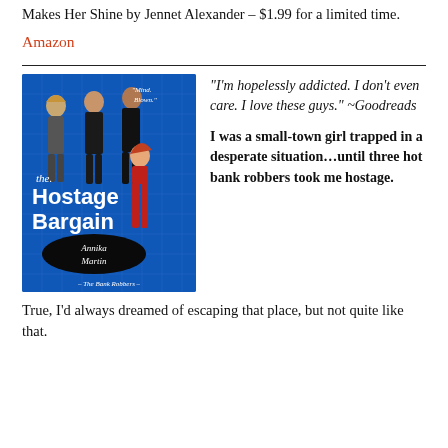Makes Her Shine by Jennet Alexander – $1.99 for a limited time.
Amazon
[Figure (illustration): Book cover of 'The Hostage Bargain' by Annika Martin. Blue background featuring three men in suits and a woman in a red outfit. Subtitle: The Bank Robbers. Quote: Mind. Blown.]
"I'm hopelessly addicted. I don't even care. I love these guys." ~Goodreads
I was a small-town girl trapped in a desperate situation...until three hot bank robbers took me hostage.
True, I'd always dreamed of escaping that place, but not quite like that.